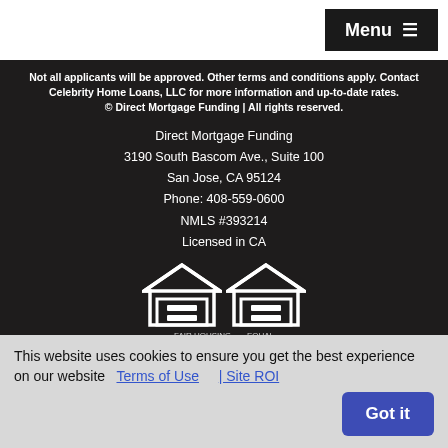Menu ≡
Not all applicants will be approved. Other terms and conditions apply. Contact Celebrity Home Loans, LLC for more information and up-to-date rates. © Direct Mortgage Funding | All rights reserved.
Direct Mortgage Funding
3190 South Bascom Ave., Suite 100
San Jose, CA 95124
Phone: 408-559-0600
NMLS #393214
Licensed in CA
[Figure (logo): Equal Housing Lender and Equal Housing Opportunity logos]
This website uses cookies to ensure you get the best experience on our website  | Terms of Use  | Site ROI  Got it